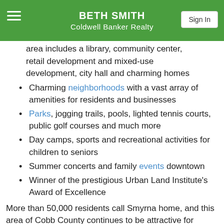BETH SMITH
Coldwell Banker Realty
area includes a library, community center, retail development and mixed-use development, city hall and charming homes
Charming neighborhoods with a vast array of amenities for residents and businesses
Parks, jogging trails, pools, lighted tennis courts, public golf courses and much more
Day camps, sports and recreational activities for children to seniors
Summer concerts and family events downtown
Winner of the prestigious Urban Land Institute's Award of Excellence
More than 50,000 residents call Smyrna home, and this area of Cobb County continues to be attractive for residential development. Smyrna's demographic profile shows its residents are younger and have a higher per capita income as compared with the